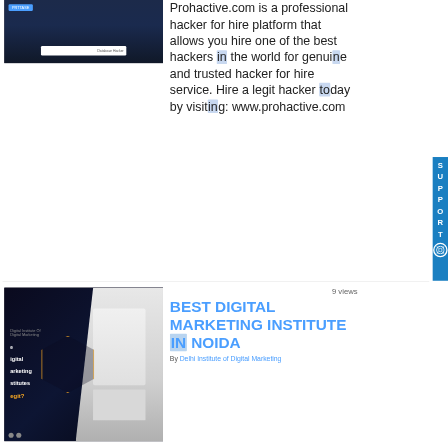[Figure (screenshot): Screenshot of Prohactive.com website showing dark background with a search bar and navigation]
Prohactive.com is a professional hacker for hire platform that allows you hire one of the best hackers in the world for genuine and trusted hacker for hire service. Hire a legit hacker today by visiting: www.prohactive.com
[Figure (photo): Photo showing a digital marketing institute advertisement with a woman presenting at a whiteboard, dark background with text about digital marketing institutes]
9 views
BEST DIGITAL MARKETING INSTITUTE IN NOIDA
By Delhi Institute of Digital Marketing